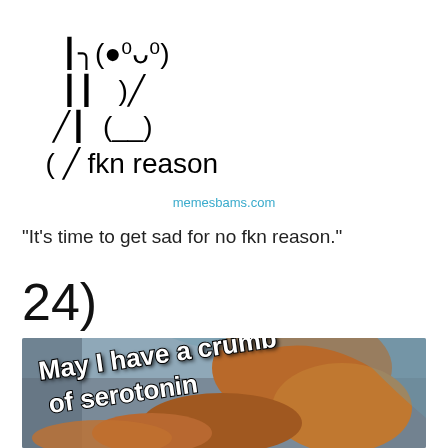[Figure (illustration): ASCII art of a cartoon bear/character made from text characters with text 'fkn reason']
memesbams.com
“It’s time to get sad for no fkn reason.”
24)
[Figure (photo): Cartoon character (appears to be from an animated show) with text overlay 'May I have a crumb of serotonin']